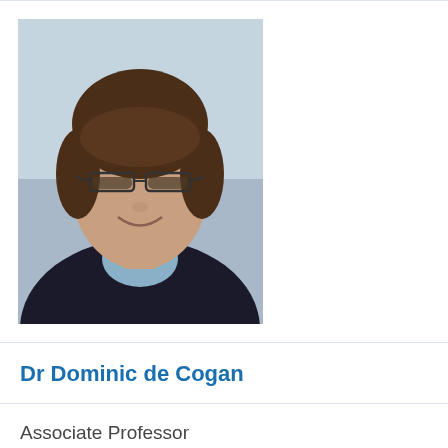[Figure (photo): Headshot of a young man with brown hair and glasses, wearing a dark blazer, smiling, with a blurred indoor background.]
Dr Dominic de Cogan
Associate Professor
dad34@cam.ac.uk
[Figure (photo): Headshot of a middle-aged man with dark hair and glasses, smiling broadly, wearing a dark jacket, with a blurred architectural background.]